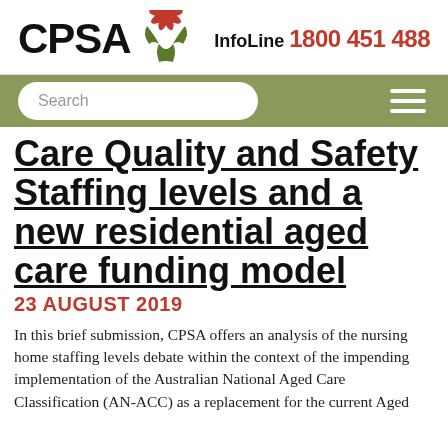CPSA InfoLine 1800 451 488
Care Quality and Safety Staffing levels and a new residential aged care funding model
23 AUGUST 2019
In this brief submission, CPSA offers an analysis of the nursing home staffing levels debate within the context of the impending implementation of the Australian National Aged Care Classification (AN-ACC) as a replacement for the current Aged